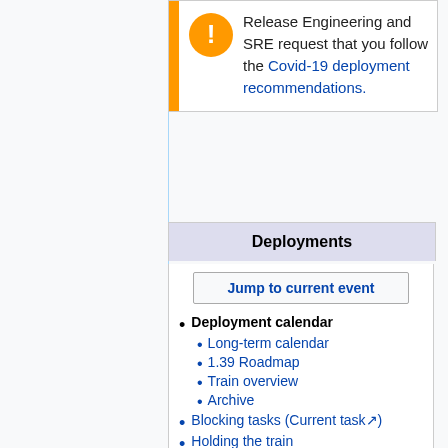Release Engineering and SRE request that you follow the Covid-19 deployment recommendations.
Deployments
Jump to current event
Deployment calendar
Long-term calendar
1.39 Roadmap
Train overview
Archive
Blocking tasks (Current task)
Holding the train
🔔 Emergencies
How to deploy code